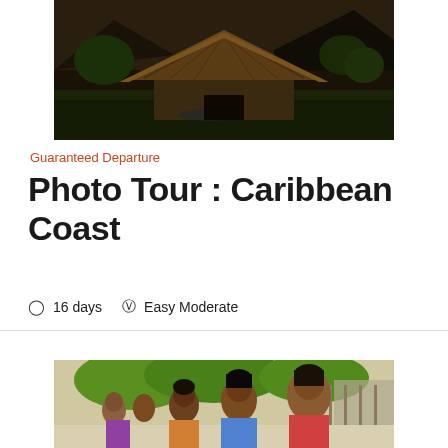[Figure (photo): A thatched-roof hut in a tropical/mountainous landscape with dark moody sky and green surroundings]
Guaranteed Departure
Photo Tour : Caribbean Coast
🕐 16 days  🚶 Easy Moderate
[Figure (photo): Group of indigenous women and children in a village, looking towards the camera, outdoors with green trees and wooden structures in background]